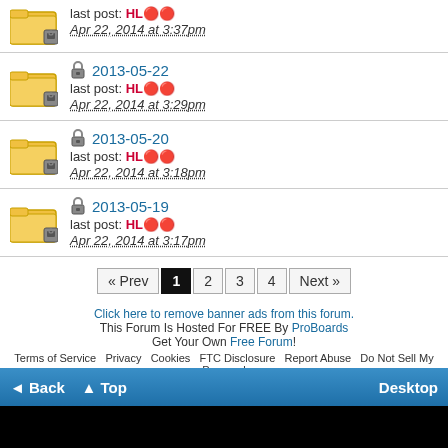last post: HL[emoji] Apr 22, 2014 at 3:37pm
2013-05-22 | last post: HL[emoji] | Apr 22, 2014 at 3:29pm
2013-05-20 | last post: HL[emoji] | Apr 22, 2014 at 3:18pm
2013-05-19 | last post: HL[emoji] | Apr 22, 2014 at 3:17pm
« Prev 1 2 3 4 Next »
Click here to remove banner ads from this forum. This Forum Is Hosted For FREE By ProBoards Get Your Own Free Forum! Terms of Service Privacy Cookies FTC Disclosure Report Abuse Do Not Sell My Personal Information
◄ Back ▲ Top Desktop